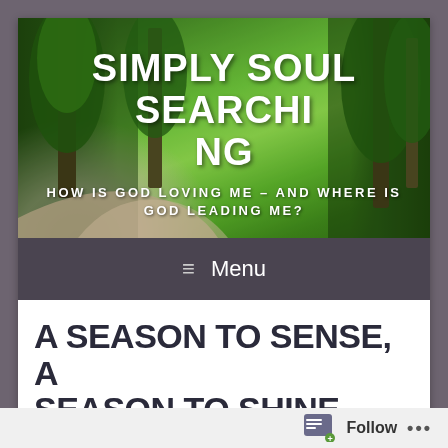[Figure (screenshot): Website banner image showing a green park/garden scene with trees, grass, and a winding path. White bold text overlay reads 'SIMPLY SOUL SEARCHING' with subtitle 'HOW IS GOD LOVING ME – AND WHERE IS GOD LEADING ME?']
SIMPLY SOUL SEARCHING
HOW IS GOD LOVING ME – AND WHERE IS GOD LEADING ME?
≡  Menu
A SEASON TO SENSE, A SEASON TO SHINE (ADVENT REFLECTIONS 2021)
Follow